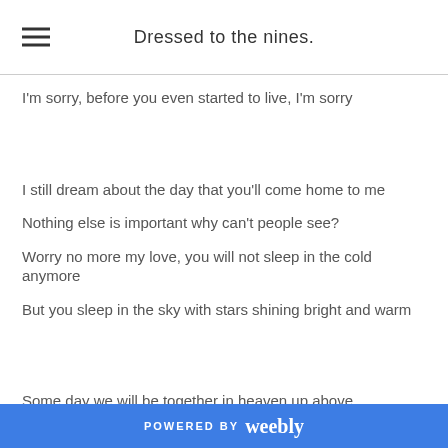Dressed to the nines.
I'm sorry, before you even started to live, I'm sorry
I still dream about the day that you'll come home to me
Nothing else is important why can't people see?
Worry no more my love, you will not sleep in the cold anymore
But you sleep in the sky with stars shining bright and warm
Some day we will be together in heaven up above.
POWERED BY weebly